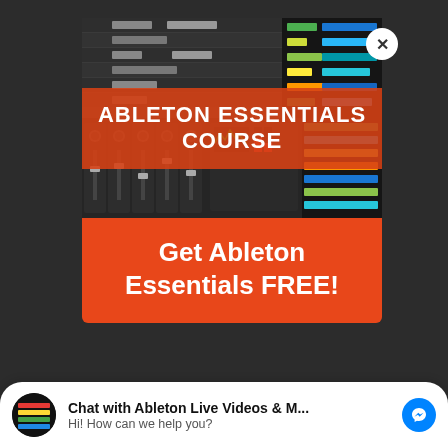[Figure (screenshot): Ableton Live Essentials Course promotional card with orange background, screenshot of Ableton Live interface with 'ABLETON ESSENTIALS COURSE' text overlay banner, and 'Get Ableton Essentials FREE!' text below the image.]
ABLETON ESSENTIALS COURSE
Get Ableton Essentials FREE!
Chat with Ableton Live Videos & M... Hi! How can we help you?